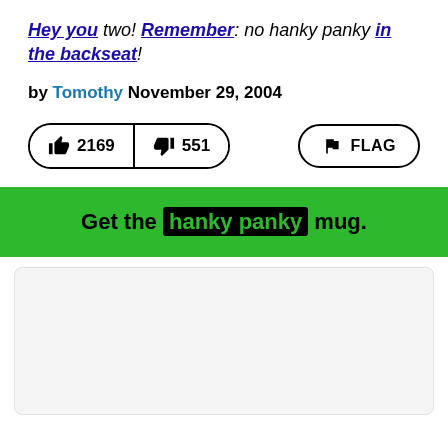Hey you two! Remember: no hanky panky in the backseat!
by Tomothy November 29, 2004
👍 2169 | 👎 551   FLAG
Get the hanky panky mug.
[Figure (other): Empty ad placeholder box with light gray background]